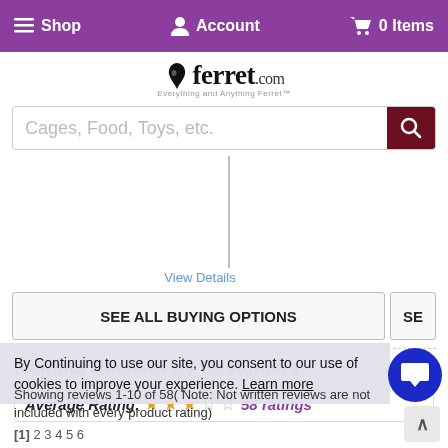Shop  Account  0 Items
[Figure (logo): ferret.com logo with ferret silhouette and tagline]
Cages, Food, Toys, etc. [search bar]
58 RATINGS - LIKE THIS PRODUCT? RATE IT! (3 filled stars, 2 empty)
View Details
SEE ALL BUYING OPTIONS  SE
Product Reviews by Customers
Average Rating: 58 ratings (3 filled stars, 2 empty)
By Continuing to use our site, you consent to our use of cookies improve your experience. Learn more
Showing reviews 1-10 of 58( Note: Not written reviews are not included with every product rating)
[1] 2 3 4 5 6